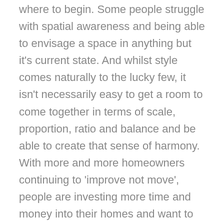where to begin. Some people struggle with spatial awareness and being able to envisage a space in anything but it's current state. And whilst style comes naturally to the lucky few, it isn't necessarily easy to get a room to come together in terms of scale, proportion, ratio and balance and be able to create that sense of harmony. With more and more homeowners continuing to 'improve not move', people are investing more time and money into their homes and want to make the most out of them. This is when you should definitely call upon the skills, knowledge and expertise of an interior designer.
A good Interior Designer will work in